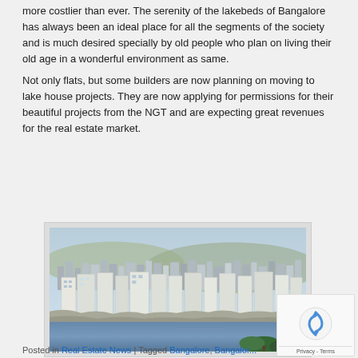more costlier than ever. The serenity of the lakebeds of Bangalore has always been an ideal place for all the segments of the society and is much desired specially by old people who plan on living their old age in a wonderful environment as same.
Not only flats, but some builders are now planning on moving to lake house projects. They are now applying for permissions for their beautiful projects from the NGT and are expecting great revenues for the real estate market.
[Figure (photo): Aerial/elevated view of a lakeside city with multi-story residential buildings, dense urban development on hillside, and a calm lake in the foreground with green palm trees visible at the bottom.]
Posted in Real Estate News | Tagged Bangalore, Bangalore Real Estate, Business/Finance, commercial real estate,